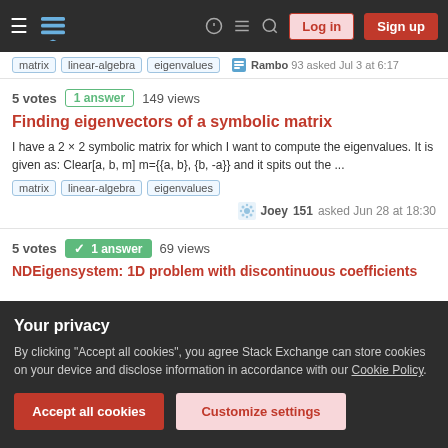Stack Exchange navigation bar with Log in and Sign up buttons
matrix | linear-algebra | eigenvalues — Rambo 93 asked Jul 3 at 6:17
5 votes | 1 answer | 149 views — Finding eigenvectors of a symbolic matrix — I have a 2 × 2 symbolic matrix for which I want to compute the eigenvalues. It is given as: Clear[a, b, m] m={{a, b}, {b, -a}} and it spits out the ... — matrix, linear-algebra, eigenvalues — Joey 151 asked Jun 28 at 18:30
5 votes | 1 answer (accepted) | 69 views — NDEigensystem: 1D problem with discontinuous coefficients
Your privacy — By clicking "Accept all cookies", you agree Stack Exchange can store cookies on your device and disclose information in accordance with our Cookie Policy.
Accept all cookies | Customize settings